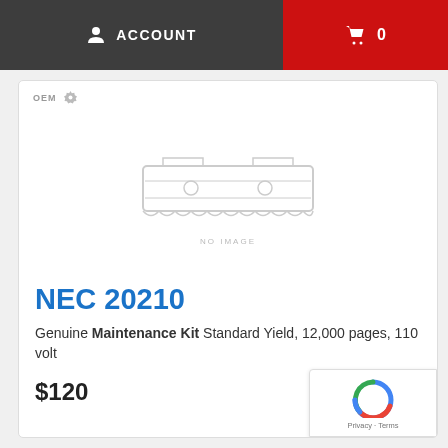ACCOUNT   🛒 0
OEM ⚙
[Figure (illustration): Placeholder product image outline showing a maintenance kit / cartridge shape in light gray lines on white background, with 'NO IMAGE' text below]
NEC 20210
Genuine Maintenance Kit Standard Yield, 12,000 pages, 110 volt
$120